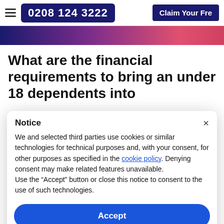0208 124 3222   Claim Your Fre
[Figure (other): Purple-to-pink gradient banner strip]
What are the financial requirements to bring an under 18 dependents into
Notice
We and selected third parties use cookies or similar technologies for technical purposes and, with your consent, for other purposes as specified in the cookie policy. Denying consent may make related features unavailable.
Use the "Accept" button or close this notice to consent to the use of such technologies.
Accept
Read More